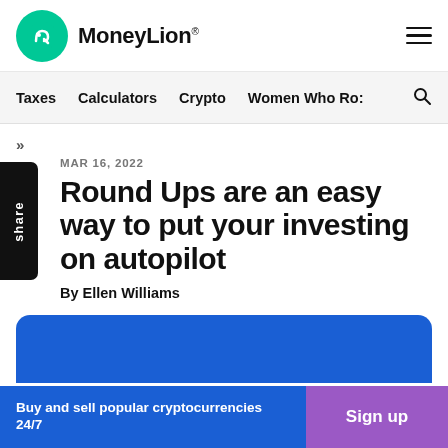MoneyLion
Taxes  Calculators  Crypto  Women Who Ro:
»
MAR 16, 2022
Round Ups are an easy way to put your investing on autopilot
By Ellen Williams
Buy and sell popular cryptocurrencies 24/7
Sign up